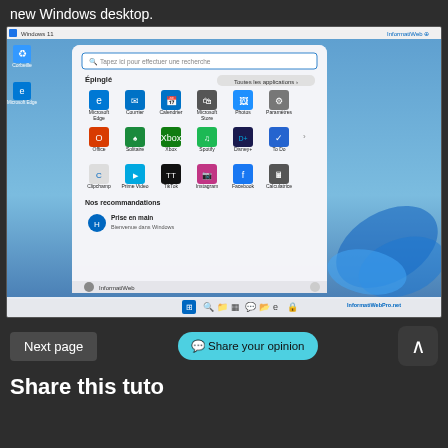new Windows desktop.
[Figure (screenshot): Screenshot of Windows 11 Start Menu showing pinned apps including Microsoft Edge, Courrier, Calendrier, Microsoft Store, Photos, Paramètres, Office, Solitaire, Xbox, Spotify, Disney+, To Do, Clipchamp, Prime Video, TikTok, Instagram, Facebook, Calculatrice. Also shows 'Nos recommandations' section with 'Prise en main - Bienvenue dans Windows'. Desktop has taskbar at bottom with InformatiWeb Pro.net watermark.]
Next page
Share your opinion
Share this tuto